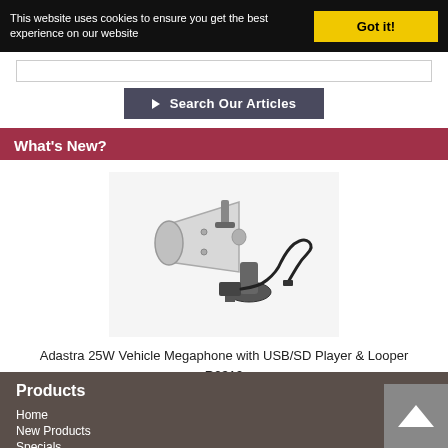This website uses cookies to ensure you get the best experience on our website
Got it!
[Figure (screenshot): Search input box]
Search Our Articles
What's New?
[Figure (photo): Adastra 25W Vehicle Megaphone with USB/SD Player and coiled cable microphone on a mount]
Adastra 25W Vehicle Megaphone with USB/SD Player & Looper R2319
Products
Home
New Products
Specials
Reviews